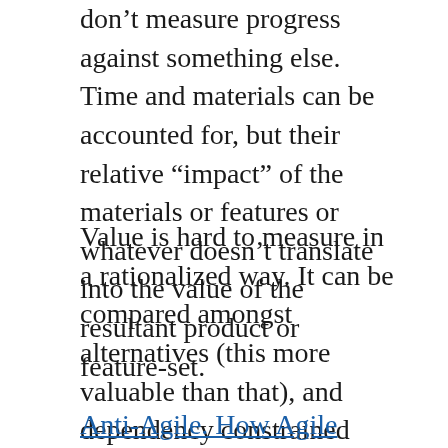don't measure progress against something else. Time and materials can be accounted for, but their relative “impact” of the materials or features or whatever doesn’t translate into the value of the resultant product or feature-set.
Value is hard to measure in a rationalized way. It can be compared amongst alternatives (this more valuable than that), and dependency constrained (must have, or only valuable if…); but translating a unit of time from a variable number of working contributors into components of what made something valuable is a fool’s quest.
Anti-Agile. How Agile Methodology Destroys